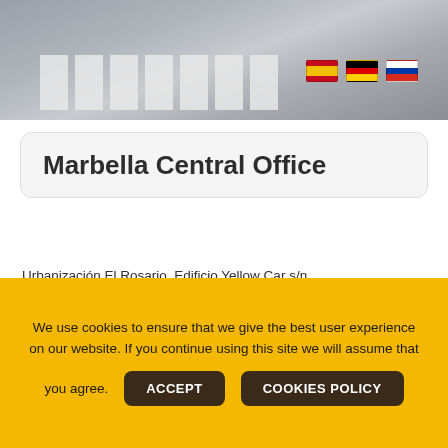[Figure (photo): Aerial/street-level view of a road with crosswalk stripes and small flag icons (Spanish, German, Russian flags) in the top right corner]
Marbella Central Office
Urbanización El Rosario, Edificio Yellow Car s/n
29604 Marbella, Spain.
Email: marbella@yellowcar.com
Tel: +34 952 831 492 / +34 952 831 553
Fax: +34 952 833 037
We use cookies to ensure that we give the best user experience on our website. If you continue using this site we will assume that you agree.
ACCEPT
COOKIES POLICY